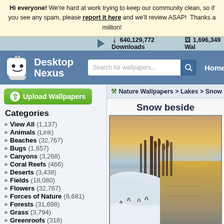Hi everyone! We're hard at work trying to keep our community clean, so if you see any spam, please report it here and we'll review ASAP! Thanks a million!
640,129,772 Downloads   1,696,349 Wallpapers
[Figure (screenshot): Desktop Nexus website logo with robot mascot icon]
Search for wallpapers...  Home
Upload Wallpapers
Nature Wallpapers > Lakes > Snow be
Categories
View All (1,137)
Animals (Link)
Beaches (32,767)
Bugs (1,657)
Canyons (3,268)
Coral Reefs (466)
Deserts (3,438)
Fields (18,080)
Flowers (32,767)
Forces of Nature (8,681)
Forests (31,698)
Grass (3,794)
Greenroofs (318)
Lakes (32,767)
Mountains (32,767)
Snow beside
[Figure (photo): Snow beside a lake at sunset, with reeds in background and golden sky reflected in still water]